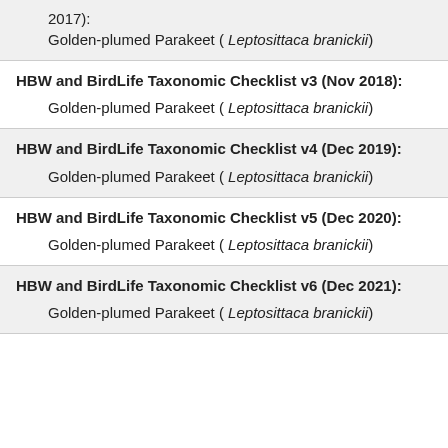2017):
    Golden-plumed Parakeet ( Leptosittaca branickii)
HBW and BirdLife Taxonomic Checklist v3 (Nov 2018):
Golden-plumed Parakeet ( Leptosittaca branickii)
HBW and BirdLife Taxonomic Checklist v4 (Dec 2019):
Golden-plumed Parakeet ( Leptosittaca branickii)
HBW and BirdLife Taxonomic Checklist v5 (Dec 2020):
Golden-plumed Parakeet ( Leptosittaca branickii)
HBW and BirdLife Taxonomic Checklist v6 (Dec 2021):
Golden-plumed Parakeet ( Leptosittaca branickii)